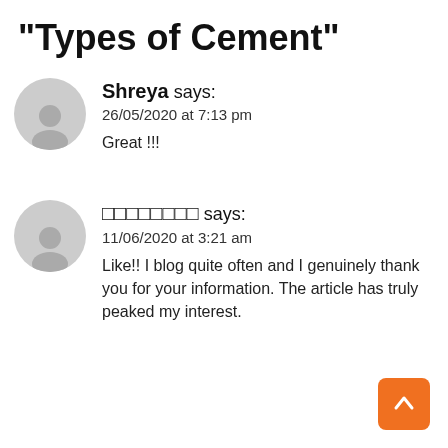"Types of Cement"
Shreya says:
26/05/2020 at 7:13 pm

Great !!!
□□□□□□□□ says:
11/06/2020 at 3:21 am

Like!! I blog quite often and I genuinely thank you for your information. The article has truly peaked my interest.